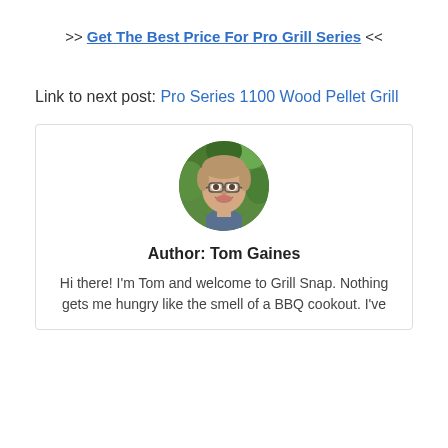>> Get The Best Price For Pro Grill Series <<
Link to next post: Pro Series 1100 Wood Pellet Grill
[Figure (photo): Circular profile photo of Tom Gaines, a young man with glasses, smiling, with green foliage in the background]
Author: Tom Gaines
Hi there! I'm Tom and welcome to Grill Snap. Nothing gets me hungry like the smell of a BBQ cookout. I've